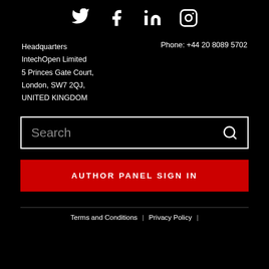[Figure (logo): Social media icons: Twitter, Facebook, LinkedIn, Instagram]
Headquarters
IntechOpen Limited
5 Princes Gate Court,
London, SW7 2QJ,
UNITED KINGDOM
Phone: +44 20 8089 5702
Search
AUTHOR PANEL SIGN IN
Terms and Conditions | Privacy Policy |